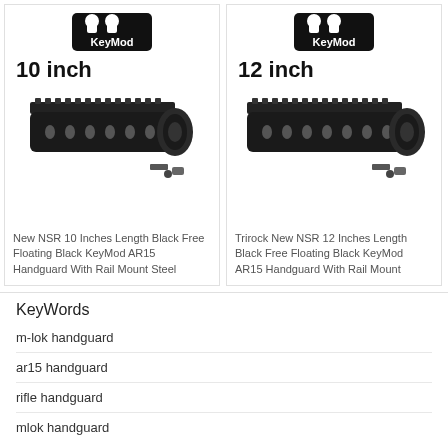[Figure (photo): 10 inch KeyMod NSR AR15 handguard product image with KeyMod logo and size label]
New NSR 10 Inches Length Black Free Floating Black KeyMod AR15 Handguard With Rail Mount Steel
[Figure (photo): 12 inch KeyMod NSR AR15 handguard product image with KeyMod logo and size label]
Trirock New NSR 12 Inches Length Black Free Floating Black KeyMod AR15 Handguard With Rail Mount
KeyWords
m-lok handguard
ar15 handguard
rifle handguard
mlok handguard